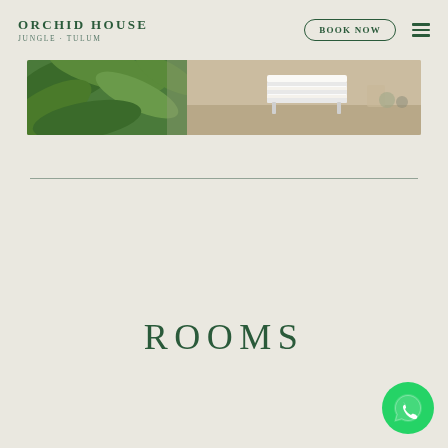ORCHID HOUSE JUNGLE TULUM
[Figure (photo): Partial view of a tropical room with lush green palm/jungle plants on the left and a white slatted lounge chair on a sandy/concrete floor on the right]
ROOMS
[Figure (logo): WhatsApp floating action button — green circle with white phone/WhatsApp icon]